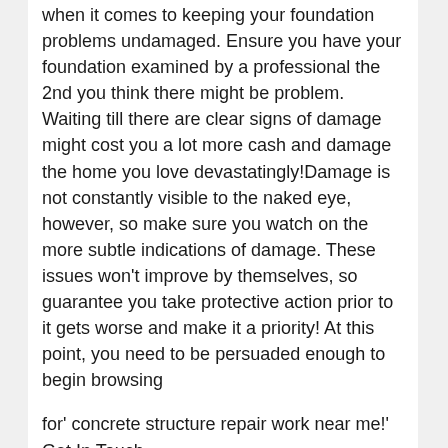when it comes to keeping your foundation problems undamaged. Ensure you have your foundation examined by a professional the 2nd you think there might be problem. Waiting till there are clear signs of damage might cost you a lot more cash and damage the home you love devastatingly!Damage is not constantly visible to the naked eye, however, so make sure you watch on the more subtle indications of damage. These issues won't improve by themselves, so guarantee you take protective action prior to it gets worse and make it a priority! At this point, you need to be persuaded enough to begin browsing
for' concrete structure repair work near me!' Get In Touch
With Debuck Building Today If you require a trusted, professional concrete contractor to help you repair your foundation problems, the Debuck Building and construction group can assist you! Offer the group a call today and we can provide you a no-obligation